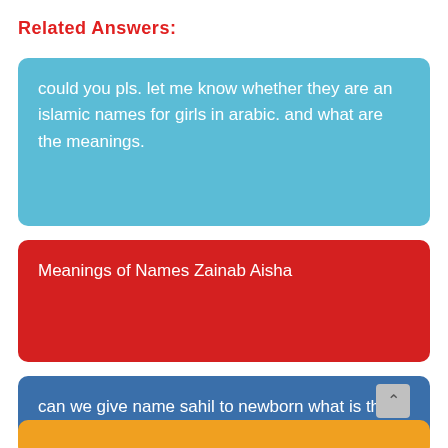Related Answers:
could you pls. let me know whether they are an islamic names for girls in arabic. and what are the meanings.
Meanings of Names Zainab Aisha
can we give name sahil to newborn what is the meaning of this name name is it good or not according to islam.